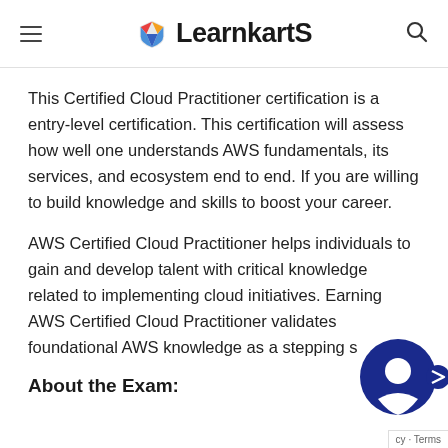LearnkartS
This Certified Cloud Practitioner certification is a entry-level certification. This certification will assess how well one understands AWS fundamentals, its services, and ecosystem end to end. If you are willing to build knowledge and skills to boost your career.
AWS Certified Cloud Practitioner helps individuals to gain and develop talent with critical knowledge related to implementing cloud initiatives. Earning AWS Certified Cloud Practitioner validates foundational AWS knowledge as a stepping s
About the Exam:
[Figure (illustration): Blue circular chat/support bubble icon with a person silhouette, partially overlapping the text at bottom right corner of the page]